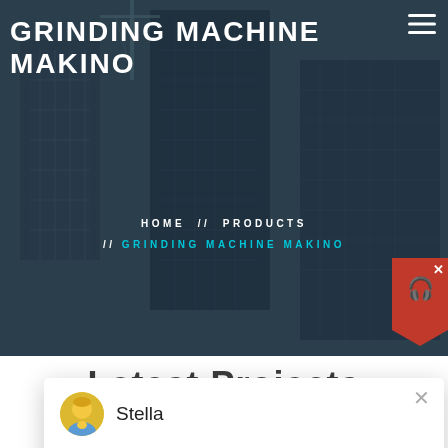GRINDING MACHINE MAKINO
HOME // PRODUCTS // GRINDING MACHINE MAKINO
[Figure (screenshot): Website screenshot showing a construction building background hero section with dark blue-grey overlay, navigation breadcrumb, a chat popup with avatar of 'Stella' saying 'Hello, I am Stella, I am very glad to talk with you!', a partially visible 'Latest Projects' section heading, pagination circle showing '1', and a bottom industrial machinery photo.]
Stella
Hello, I am Stella, I am very glad to talk with you!
Latest Projects
1